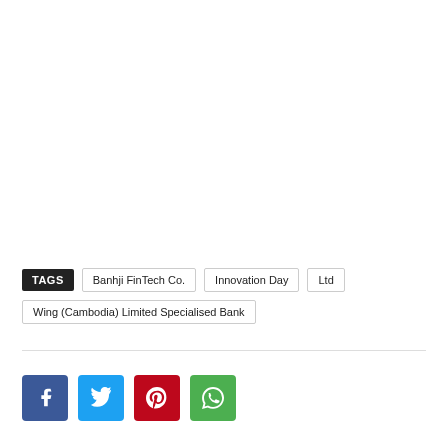TAGS  Banhji FinTech Co.  Innovation Day  Ltd  Wing (Cambodia) Limited Specialised Bank
[Figure (other): Social media share buttons: Facebook, Twitter, Pinterest, WhatsApp]